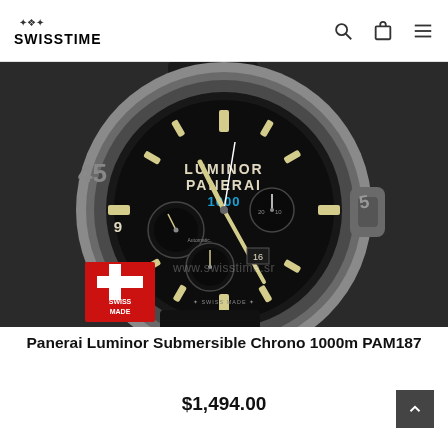SWISSTIME
[Figure (photo): Close-up photo of a Panerai Luminor Submersible Chrono 1000m PAM187 watch with black dial, luminous indices, chronograph subdials, stainless steel bezel. Swiss Made logo badge visible in lower left. Watermark: www.swisstime.sr]
Panerai Luminor Submersible Chrono 1000m PAM187
$1,494.00